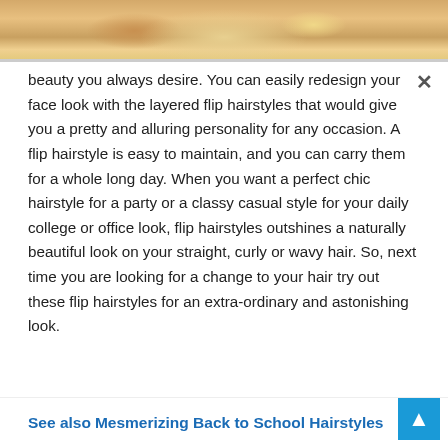[Figure (photo): Partial photo of a person with blonde/golden wavy curly hair, cropped at top of the page]
beauty you always desire. You can easily redesign your face look with the layered flip hairstyles that would give you a pretty and alluring personality for any occasion. A flip hairstyle is easy to maintain, and you can carry them for a whole long day. When you want a perfect chic hairstyle for a party or a classy casual style for your daily college or office look, flip hairstyles outshines a naturally beautiful look on your straight, curly or wavy hair. So, next time you are looking for a change to your hair try out these flip hairstyles for an extra-ordinary and astonishing look.
See also  Mesmerizing Back to School Hairstyles